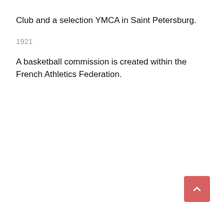Club and a selection YMCA in Saint Petersburg.
1921
A basketball commission is created within the French Athletics Federation.